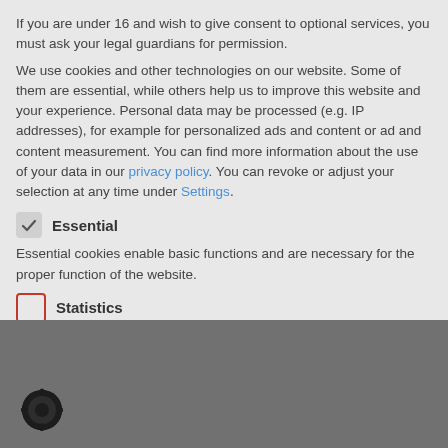If you are under 16 and wish to give consent to optional services, you must ask your legal guardians for permission.
We use cookies and other technologies on our website. Some of them are essential, while others help us to improve this website and your experience. Personal data may be processed (e.g. IP addresses), for example for personalized ads and content or ad and content measurement. You can find more information about the use of your data in our privacy policy. You can revoke or adjust your selection at any time under Settings.
Essential
Essential cookies enable basic functions and are necessary for the proper function of the website.
Statistics
[Figure (logo): Circular dark logo icon at bottom left]